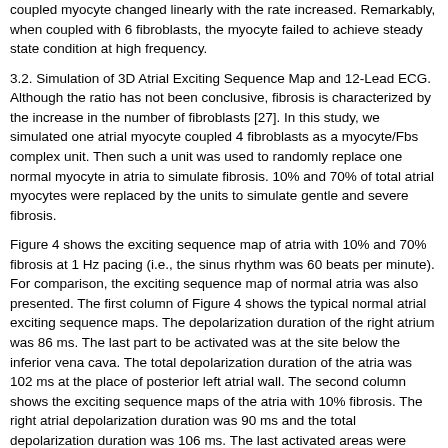coupled myocyte changed linearly with the rate increased. Remarkably, when coupled with 6 fibroblasts, the myocyte failed to achieve steady state condition at high frequency.
3.2. Simulation of 3D Atrial Exciting Sequence Map and 12-Lead ECG. Although the ratio has not been conclusive, fibrosis is characterized by the increase in the number of fibroblasts [27]. In this study, we simulated one atrial myocyte coupled 4 fibroblasts as a myocyte/Fbs complex unit. Then such a unit was used to randomly replace one normal myocyte in atria to simulate fibrosis. 10% and 70% of total atrial myocytes were replaced by the units to simulate gentle and severe fibrosis.
Figure 4 shows the exciting sequence map of atria with 10% and 70% fibrosis at 1 Hz pacing (i.e., the sinus rhythm was 60 beats per minute). For comparison, the exciting sequence map of normal atria was also presented. The first column of Figure 4 shows the typical normal atrial exciting sequence maps. The depolarization duration of the right atrium was 86 ms. The last part to be activated was at the site below the inferior vena cava. The total depolarization duration of the atria was 102 ms at the place of posterior left atrial wall. The second column shows the exciting sequence maps of the atria with 10% fibrosis. The right atrial depolarization duration was 90 ms and the total depolarization duration was 106 ms. The last activated areas were nearly the same as the normal case. The third column was the exciting sequence maps of the atria with 70% fibrosis. The last place to be activated in the right atrium was the right lateral wall at the time of 104 ms. The total depolarization duration of the atria was 133 ms nearly at the same place as the normal case.
Figure 5 shows the 12-lead ECG of atrium with 10% and 70% fibrosis in comparison with normal atria at 1 Hz pacing in two cardiac cycles. Because the fibrosis decreased the cellular maximum overshoot potential